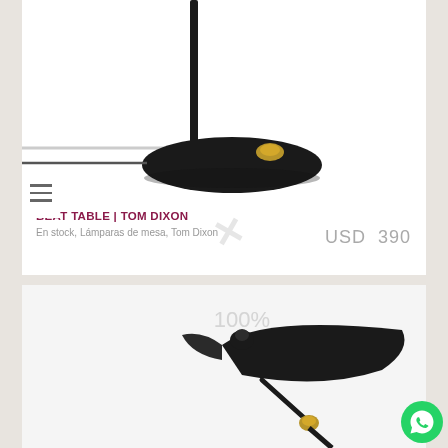[Figure (photo): Close-up photo of the base of a Beat Table lamp by Tom Dixon. A round black cast iron base with a brass fitting, black stem, and power cord visible on a white background.]
BEAT TABLE | TOM DIXON
En stock, Lámparas de mesa, Tom Dixon
USD 390
[Figure (photo): Partial photo of a mid-century style desk lamp with a large black shade, brass joint, and black arm, on a white background. A 100% watermark is visible.]